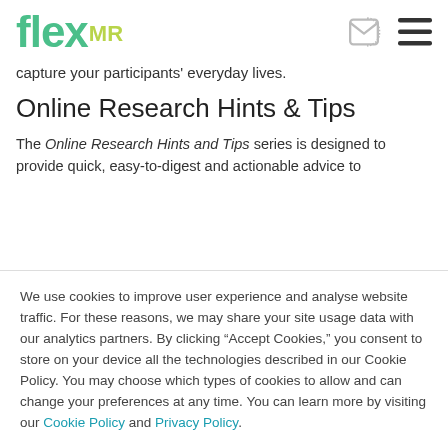flexMR
capture your participants' everyday lives.
Online Research Hints & Tips
The Online Research Hints and Tips series is designed to provide quick, easy-to-digest and actionable advice to
We use cookies to improve user experience and analyse website traffic. For these reasons, we may share your site usage data with our analytics partners. By clicking “Accept Cookies,” you consent to store on your device all the technologies described in our Cookie Policy. You may choose which types of cookies to allow and can change your preferences at any time. You can learn more by visiting our Cookie Policy and Privacy Policy.
Preferences | Accept | Decline